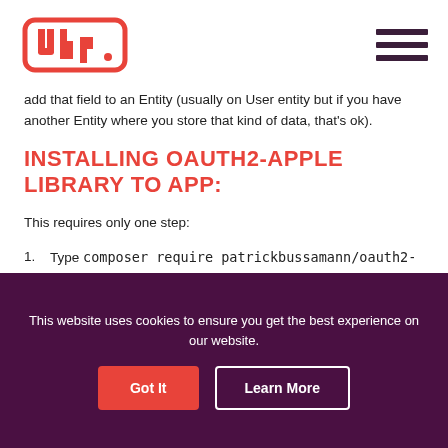UHP logo and navigation menu
add that field to an Entity (usually on User entity but if you have another Entity where you store that kind of data, that's ok).
INSTALLING OAUTH2-APPLE LIBRARY TO APP:
This requires only one step:
1. Type composer require patrickbussamann/oauth2-apple in your terminal
This will install a package that contains everything you need to
This website uses cookies to ensure you get the best experience on our website.